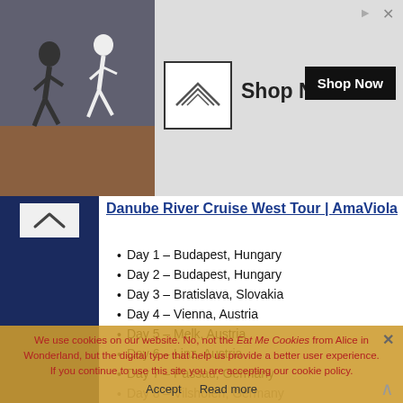[Figure (screenshot): Ad banner with athletes running/exercising, a logo box with wing symbol, Shop Now text and black button]
Danube River Cruise West Tour | AmaViola
Day 1 – Budapest, Hungary
Day 2 – Budapest, Hungary
Day 3 – Bratislava, Slovakia
Day 4 – Vienna, Austria
Day 5 – Melk, Austria
Day 6 – Linz, Austria
Day 7 – Passau, Germany
Day 8 – Vilshofen, Germany
We use cookies on our website. No, not the Eat Me Cookies from Alice in Wonderland, but the digital type that help us provide a better user experience.
If you continue to use this site you are accepting our cookie policy.
Accept   Read more